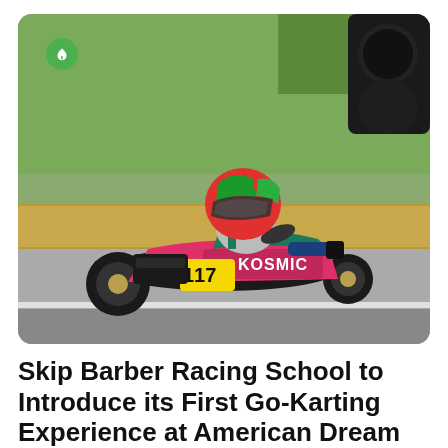[Figure (photo): A go-kart racer wearing a colorful red and green helmet driving a pink and teal Kosmic branded kart numbered 117 on a racing circuit. Hay bales and green grass are visible in the background. A small green circular icon with a leaf symbol appears in the upper-left corner of the photo.]
Skip Barber Racing School to Introduce its First Go-Karting Experience at American Dream